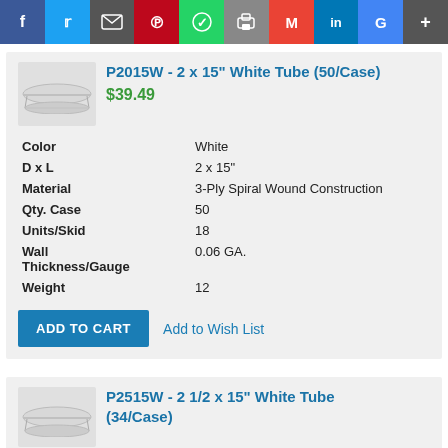[Figure (other): Social media sharing toolbar with icons for Facebook, Twitter, Email, Pinterest, WhatsApp, Print, Gmail, LinkedIn, Google+, and More]
[Figure (photo): Small thumbnail image of a white cardboard tube]
P2015W - 2 x 15" White Tube (50/Case)
$39.49
| Property | Value |
| --- | --- |
| Color | White |
| D x L | 2 x 15" |
| Material | 3-Ply Spiral Wound Construction |
| Qty. Case | 50 |
| Units/Skid | 18 |
| Wall Thickness/Gauge | 0.06 GA. |
| Weight | 12 |
ADD TO CART   Add to Wish List
[Figure (photo): Small thumbnail image of a white cardboard tube]
P2515W - 2 1/2 x 15" White Tube (34/Case)